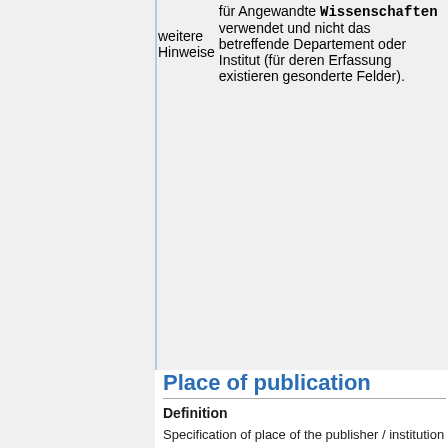| weitere Hinweise | für Angewandte Wissenschaften verwendet und nicht das betreffende Departement oder Institut (für deren Erfassung existieren gesonderte Felder). |
Place of publication
Definition
Specification of place of the publisher / institution which has published the present work.
Explanation
Es gibt diverse Verlage, die ihre Publikationen an verschiedenen Orten herausgeben. Bei mehreren Verlagsorten wird jeweils nur der erstgenannte Ort verwendet. Bei